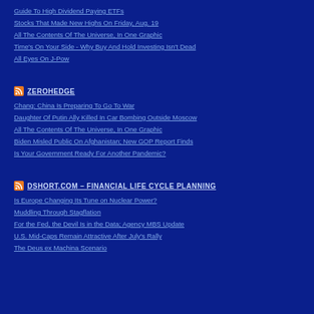Guide To High Dividend Paying ETFs
Stocks That Made New Highs On Friday, Aug. 19
All The Contents Of The Universe, In One Graphic
Time's On Your Side - Why Buy And Hold Investing Isn't Dead
All Eyes On J-Pow
ZEROHEDGE
Chang: China Is Preparing To Go To War
Daughter Of Putin Ally Killed In Car Bombing Outside Moscow
All The Contents Of The Universe, In One Graphic
Biden Misled Public On Afghanistan; New GOP Report Finds
Is Your Government Ready For Another Pandemic?
DSHORT.COM – FINANCIAL LIFE CYCLE PLANNING
Is Europe Changing Its Tune on Nuclear Power?
Muddling Through Stagflation
For the Fed, the Devil Is in the Data; Agency MBS Update
U.S. Mid-Caps Remain Attractive After July's Rally
The Deus ex Machina Scenario